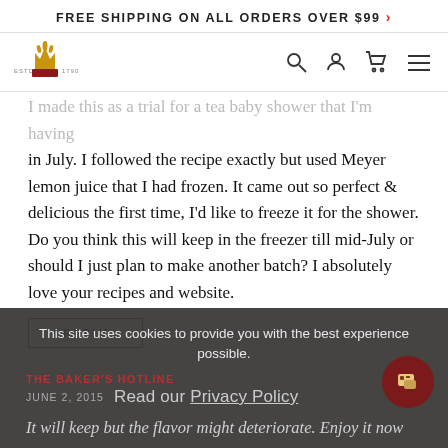FREE SHIPPING ON ALL ORDERS OVER $99 >
[Figure (logo): King Arthur Baking Company crown logo with ESTD 1790 text, with search, user, cart, and menu icons]
I made this as a trial for a tea baby shower that I'm having in July. I followed the recipe exactly but used Meyer lemon juice that I had frozen. It came out so perfect & delicious the first time, I'd like to freeze it for the shower. Do you think this will keep in the freezer till mid-July or should I just plan to make another batch? I absolutely love your recipes and website.
REPLY
This site uses cookies to provide you with the best experience possible.
THE BAKER'S HOTLINE
JUNE 2, 2015
Read our Privacy Policy
It will keep but the flavor might deteriorate. Enjoy it now